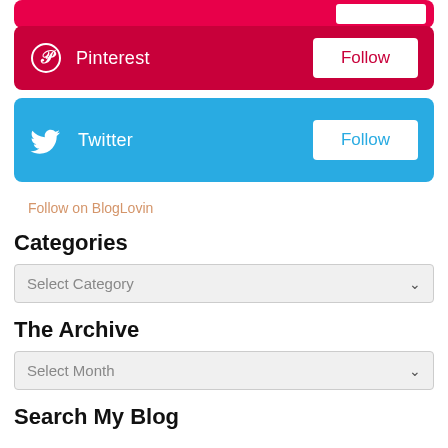[Figure (infographic): Pinterest social follow button (partially visible at top)]
[Figure (infographic): Pinterest social follow block with Pinterest icon, text 'Pinterest', and a white Follow button on red background]
[Figure (infographic): Twitter social follow block with Twitter bird icon, text 'Twitter', and a white Follow button on blue background]
Follow on BlogLovin
Categories
Select Category
The Archive
Select Month
Search My Blog